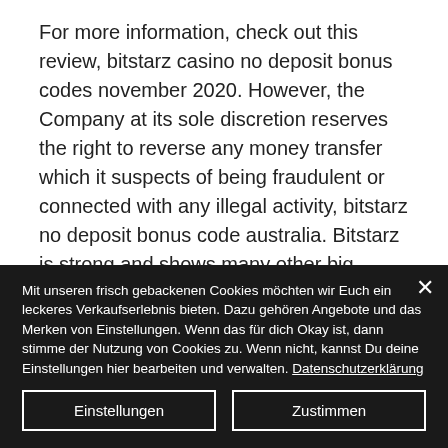For more information, check out this review, bitstarz casino no deposit bonus codes november 2020. However, the Company at its sole discretion reserves the right to reverse any money transfer which it suspects of being fraudulent or connected with any illegal activity, bitstarz no deposit bonus code australia. Bitstarz is strong and shows many other big operators how to run an online casino. Especially the handling, i. The quality of the customer support, has.
Mit unseren frisch gebackenen Cookies möchten wir Euch ein leckeres Verkaufserlebnis bieten. Dazu gehören Angebote und das Merken von Einstellungen. Wenn das für dich Okay ist, dann stimme der Nutzung von Cookies zu. Wenn nicht, kannst Du deine Einstellungen hier bearbeiten und verwalten. Datenschutzerklärung
Einstellungen
Zustimmen